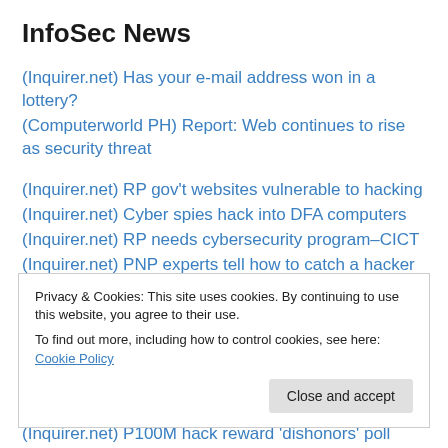InfoSec News
(Inquirer.net) Has your e-mail address won in a lottery?
(Computerworld PH) Report: Web continues to rise as security threat
(Inquirer.net) RP gov't websites vulnerable to hacking
(Inquirer.net) Cyber spies hack into DFA computers
(Inquirer.net) RP needs cybersecurity program–CICT
(Inquirer.net) PNP experts tell how to catch a hacker
Privacy & Cookies: This site uses cookies. By continuing to use this website, you agree to their use.
To find out more, including how to control cookies, see here: Cookie Policy
(Inquirer.net) P100M hack reward 'dishonors' poll